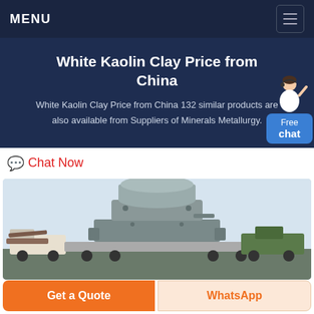MENU
White Kaolin Clay Price from China
White Kaolin Clay Price from China 132 similar products are also available from Suppliers of Minerals Metallurgy.
Chat Now
[Figure (photo): Large industrial machine (crusher or mill) on a flatbed truck, photographed outdoors with other vehicles and equipment visible in background. The machine is gray/industrial colored with a large cylindrical top component.]
Get a Quote
WhatsApp